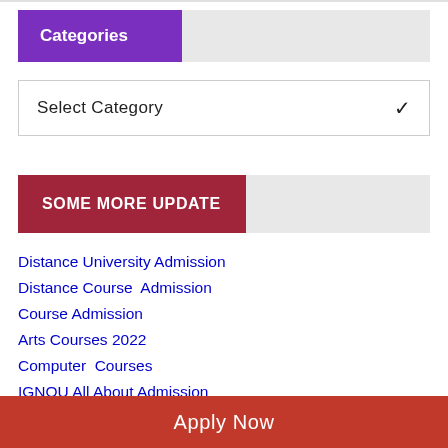Categories
Select Category
SOME MORE UPDATE
Distance University Admission
Distance Course  Admission
Course Admission
Arts Courses 2022
Computer  Courses
IGNOU All About Admission
University Admission 2022
Apply Now